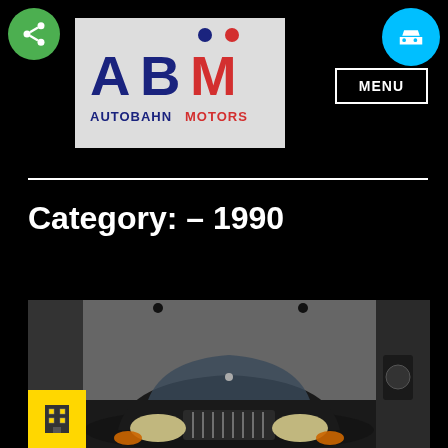[Figure (logo): ABM Autobahn Motors logo with blue and red lettering and stylized figures]
MENU
Category: – 1990
[Figure (photo): Front view of a classic black Bentley or Rolls-Royce automobile in a showroom with spotlights]